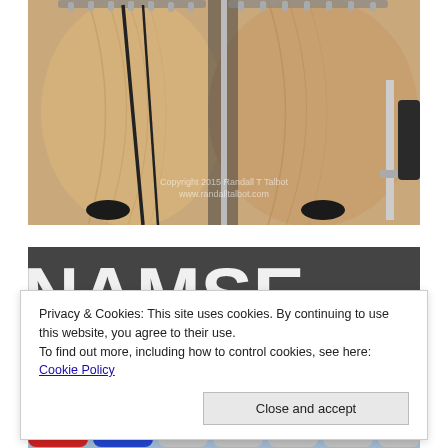[Figure (photo): Close-up photo of wooden conga drums with metal hardware, microphone stands, and black straps. A watermark reads 'Copyright 2015 Randall T Talbot www.randalltalbot.com']
[Figure (photo): Partial photo showing a dark banner with large white letters, partially obscured by a cookie consent overlay.]
Privacy & Cookies: This site uses cookies. By continuing to use this website, you agree to their use.
To find out more, including how to control cookies, see here: Cookie Policy
Close and accept
[Figure (photo): Partial photo of colorful drums (red, blue) with chrome hardware at the bottom of the page.]